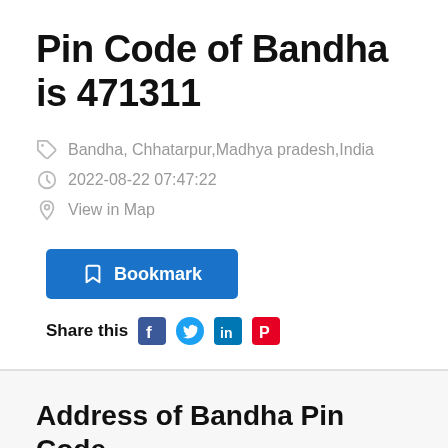Pin Code of Bandha is 471311
Bandha, Chhatarpur,Madhya pradesh,India
2022-08-22 07:47:22
View in Map
Bookmark
Share this
Address of Bandha Pin Code